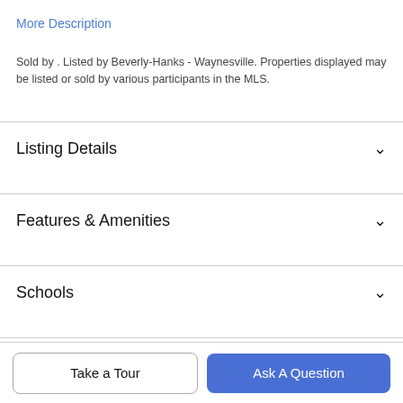More Description
Sold by . Listed by Beverly-Hanks - Waynesville. Properties displayed may be listed or sold by various participants in the MLS.
Listing Details
Features & Amenities
Schools
Payment Calculator
Take a Tour
Ask A Question